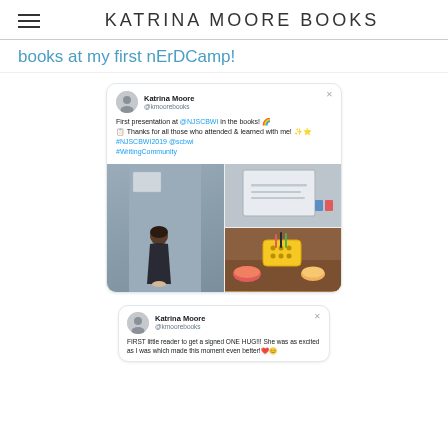KATRINA MOORE BOOKS
books at my first nErDCamp!
[Figure (screenshot): Embedded tweet from Katrina Moore (@kmoorebooks) reading: 'First presentation at @NJSCBWI in the books! 🌈📋 Thanks for all those who attended & learned with me! ✨⭐ #NJSCBWI2019 @scbwi #WritingCommunity' with attached images showing a woman at a conference presentation and a table with snacks in a yellow basket.]
[Figure (screenshot): Embedded tweet from Katrina Moore (@kmoorebooks) reading: 'FIRST little reader to get a signed ONE HUG!!! She was as excited as I was which made this moment even better! ❤️😊']